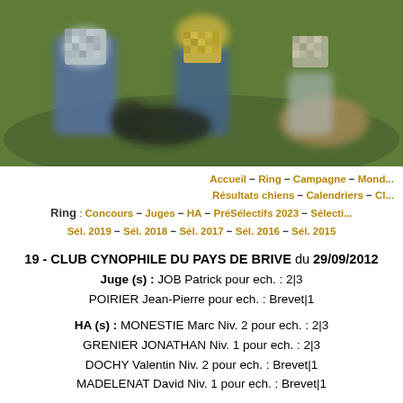[Figure (photo): Outdoor photo of people with dogs on a green field, faces pixelated for privacy. Shows dog training or competition scene.]
Accueil − Ring − Campagne − Mond... Résultats chiens − Calendriers − Cl...
Ring : Concours − Juges − HA − PréSélectifs 2023 − Sélecti... Sél. 2019 − Sél. 2018 − Sél. 2017 − Sél. 2016 − Sél. 2015
19 - CLUB CYNOPHILE DU PAYS DE BRIVE du 29/09/2012
Juge (s) : JOB Patrick pour ech. : 2|3
POIRIER Jean-Pierre pour ech. : Brevet|1
HA (s) : MONESTIE Marc Niv. 2 pour ech. : 2|3
GRENIER JONATHAN Niv. 1 pour ech. : 2|3
DOCHY Valentin Niv. 2 pour ech. : Brevet|1
MADELENAT David Niv. 1 pour ech. : Brevet|1